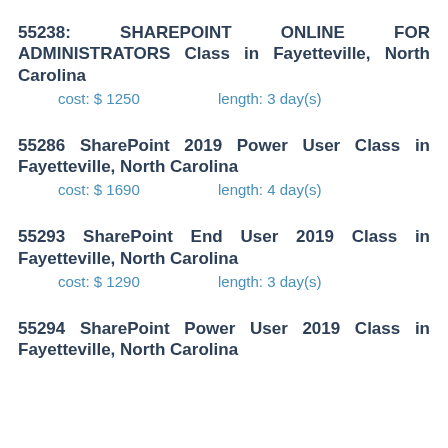55238: SHAREPOINT ONLINE FOR ADMINISTRATORS Class in Fayetteville, North Carolina
cost: $ 1250    length: 3 day(s)
55286 SharePoint 2019 Power User Class in Fayetteville, North Carolina
cost: $ 1690    length: 4 day(s)
55293 SharePoint End User 2019 Class in Fayetteville, North Carolina
cost: $ 1290    length: 3 day(s)
55294 SharePoint Power User 2019 Class in Fayetteville, North Carolina